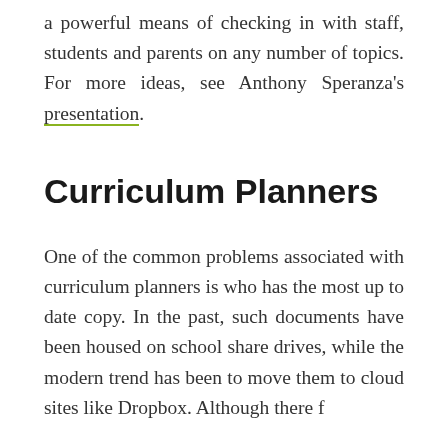a powerful means of checking in with staff, students and parents on any number of topics. For more ideas, see Anthony Speranza's presentation.
Curriculum Planners
One of the common problems associated with curriculum planners is who has the most up to date copy. In the past, such documents have been housed on school share drives, while the modern trend has been to move them to cloud sites like Dropbox. Although there f